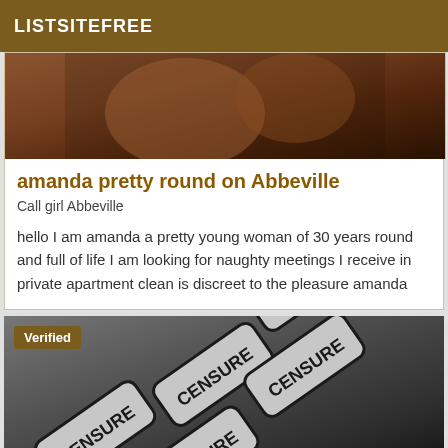LISTSITEFREE
[Figure (photo): Partial photo of a woman, cropped, with dark background tones]
amanda pretty round on Abbeville
Call girl Abbeville
hello I am amanda a pretty young woman of 30 years round and full of life I am looking for naughty meetings I receive in private apartment clean is discreet to the pleasure amanda
[Figure (photo): Censored image with overlapping CENSURE stamp tiles, dark background. Verified badge in top-left corner.]